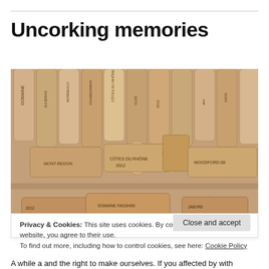Uncorking memories
[Figure (photo): Collection of wine corks stacked and scattered, showing various winery labels and years (2012, 2013), including Côtes du Rhône and other French wine corks]
Privacy & Cookies: This site uses cookies. By continuing to use this website, you agree to their use.
To find out more, including how to control cookies, see here: Cookie Policy
[Close and accept button]
A while a and the right to make ourselves. If you affected by with